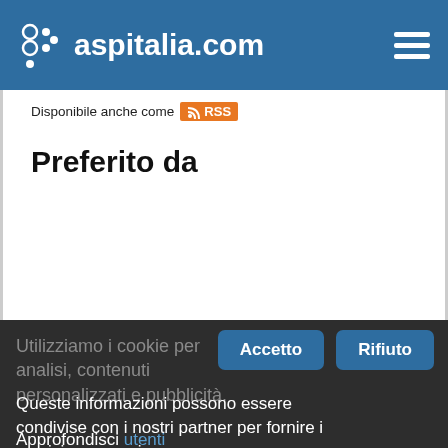aspitalia.com
Disponibile anche come RSS
Preferito da
Utilizziamo i cookie per analisi, contenuti personalizzati e pubblicità.
Queste informazioni possono essere condivise con i nostri partner per fornire i servizi necessari.
Approfondisci utenti